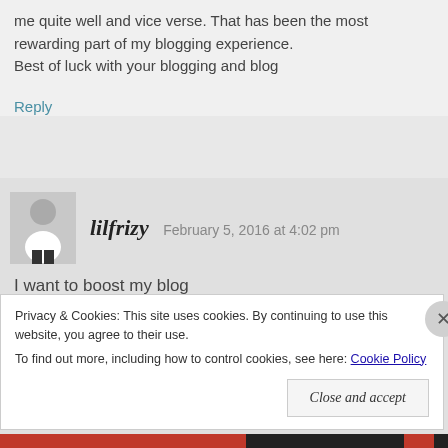me quite well and vice verse. That has been the most rewarding part of my blogging experience. Best of luck with your blogging and blog
Reply
lilfrizy   February 5, 2016 at 4:02 pm
I want to boost my blog
Reply
Privacy & Cookies: This site uses cookies. By continuing to use this website, you agree to their use.
To find out more, including how to control cookies, see here: Cookie Policy
Close and accept